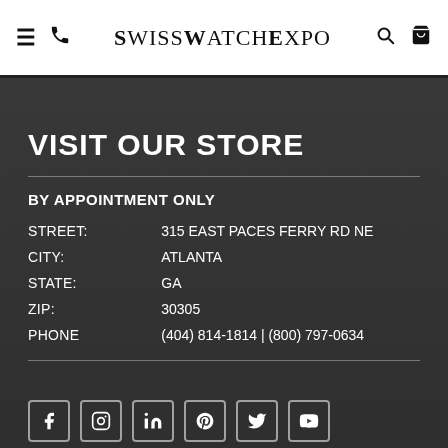SwissWatchExpo — navigation header with hamburger, phone, search, cart icons
VISIT OUR STORE
BY APPOINTMENT ONLY
| Field | Value |
| --- | --- |
| STREET: | 315 EAST PACES FERRY RD NE |
| CITY: | ATLANTA |
| STATE: | GA |
| ZIP: | 30305 |
| PHONE | (404) 814-1814 | (800) 797-0634 |
[Figure (other): Row of social media icon buttons: Facebook, Instagram, LinkedIn, Pinterest, Twitter, YouTube]